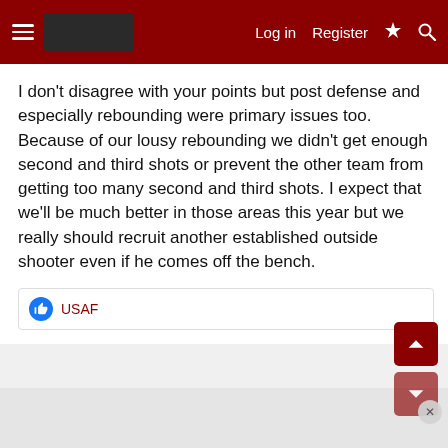Log in  Register
I don't disagree with your points but post defense and especially rebounding were primary issues too. Because of our lousy rebounding we didn't get enough second and third shots or prevent the other team from getting too many second and third shots. I expect that we'll be much better in those areas this year but we really should recruit another established outside shooter even if he comes off the bench.
USAF